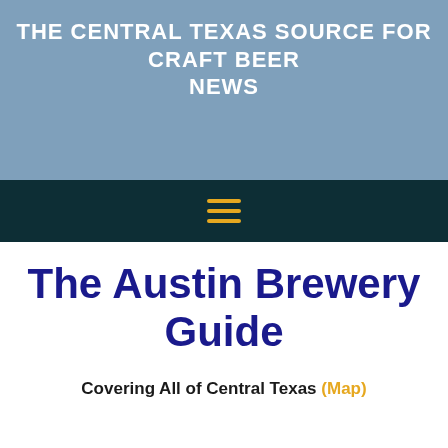THE CENTRAL TEXAS SOURCE FOR CRAFT BEER NEWS
[Figure (other): Dark teal navigation bar with a hamburger menu icon (three horizontal gold/yellow lines)]
The Austin Brewery Guide
Covering All of Central Texas (Map)